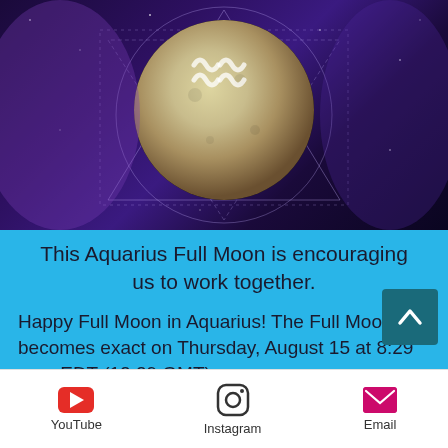[Figure (illustration): Full moon with Aquarius symbol overlay on a dark purple starry background with geometric sacred geometry lines (circles and triangles)]
This Aquarius Full Moon is encouraging us to work together.
Happy Full Moon in Aquarius! The Full Moon becomes exact on Thursday, August 15 at 8:29 a.m. EDT (12:29 GMT).
Aquarius is a fixed air sign that is associated with equality, group
YouTube   Instagram   Email